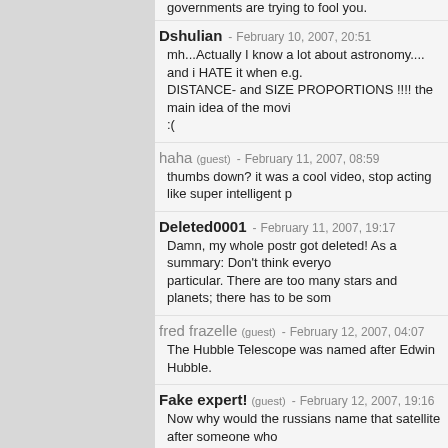governments are trying to fool you.
Dshulian - February 10, 2007, 20:51
mh...Actually I know a lot about astronomy.... and i HATE it when e.g. DISTANCE- and SIZE PROPORTIONS !!!! the main idea of the movi
:(
haha (guest) - February 11, 2007, 08:59
thumbs down? it was a cool video, stop acting like super intelligent p
Deleted0001 - February 11, 2007, 19:17
Damn, my whole postr got deleted! As a summary: Don't think everyo particular. There are too many stars and planets; there has to be som
fred frazelle (guest) - February 12, 2007, 04:07
The Hubble Telescope was named after Edwin Hubble.
Fake expert! (guest) - February 12, 2007, 19:16
Now why would the russians name that satellite after someone who I? I told you I were right all along.
Scorpio - February 14, 2007, 01:58
[ufo icon] expert! WTF are you smoking?
Scorpio - February 14, 2007, 02:00
HAHA yay! i figured out how to make UFOs!!!!!! (()) "take us to your le
Scorpio - February 14, 2007, 02:02
lmao.... um.... i didnt mean to draw that vagina... it looked like aliens
Scorpio (guest) - February 17, 2007, 01:11
I take that back - I did mean to draw that vagina.
Niedec (guest) - February 24, 2007, 09:00